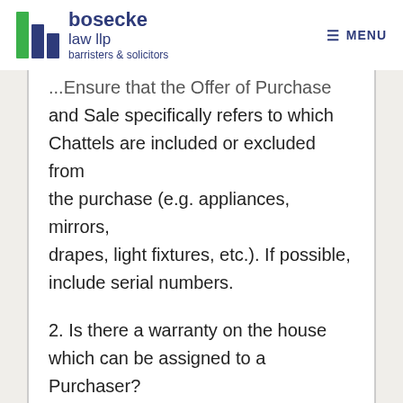bosecke law llp barristers & solicitors | MENU
...Ensure that the Offer of Purchase and Sale specifically refers to which Chattels are included or excluded from the purchase (e.g. appliances, mirrors, drapes, light fixtures, etc.). If possible, include serial numbers.
2. Is there a warranty on the house which can be assigned to a Purchaser? Have there been any significant improvements made to the house recently (e.g. replaced furnace...